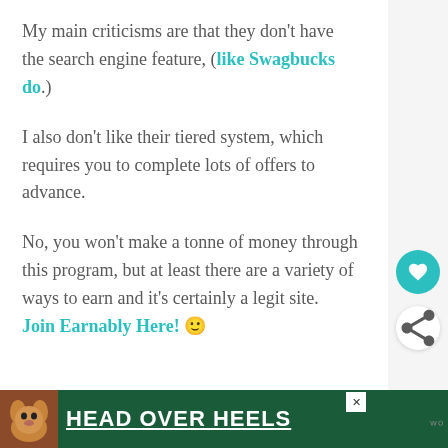My main criticisms are that they don't have the search engine feature, (like Swagbucks do.)
I also don't like their tiered system, which requires you to complete lots of offers to advance.
No, you won't make a tonne of money through this program, but at least there are a variety of ways to earn and it's certainly a legit site. Join Earnably Here! 🙂
[Figure (infographic): Advertisement banner with dark green background showing a dog image and text 'HEAD OVER HEELS' in white bold underlined font]